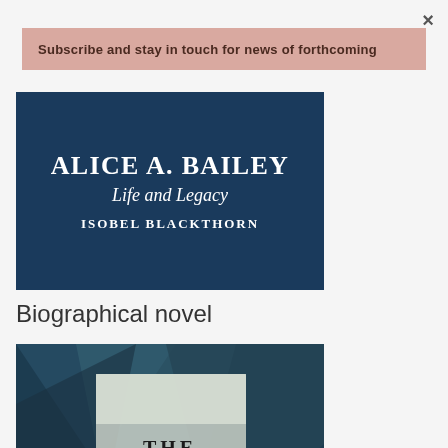×
Subscribe and stay in touch for news of forthcoming
[Figure (illustration): Book cover for 'Alice A. Bailey: Life and Legacy' by Isobel Blackthorn. Dark navy blue background with white serif text showing author name in large bold letters and subtitle in italic script.]
Biographical novel
[Figure (illustration): Book cover for 'The Unlikely Occultist' showing geometric angular shapes in dark teal/blue tones with bold black serif text centered at the bottom.]